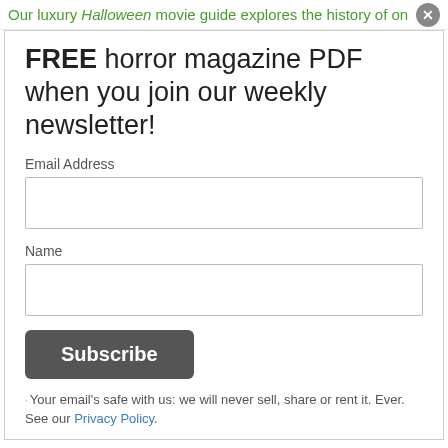Our luxury Halloween movie guide explores the history of on
FREE horror magazine PDF when you join our weekly newsletter!
Email Address
Name
Subscribe
Your email's safe with us: we will never sell, share or rent it. Ever. See our Privacy Policy.
the horror, fear and sheer inventiveness of Michael Myers' many outings. Whichever Halloween movie is your favourite, you'll find plenty to enjoy here.